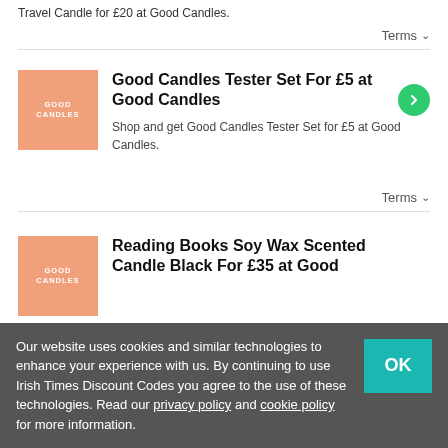Travel Candle for £20 at Good Candles.
Terms ∨
Good Candles Tester Set For £5 at Good Candles
Shop and get Good Candles Tester Set for £5 at Good Candles.
Terms ∨
Reading Books Soy Wax Scented Candle Black For £35 at Good Candles
Our website uses cookies and similar technologies to enhance your experience with us. By continuing to use Irish Times Discount Codes you agree to the use of these technologies. Read our privacy policy and cookie policy for more information.